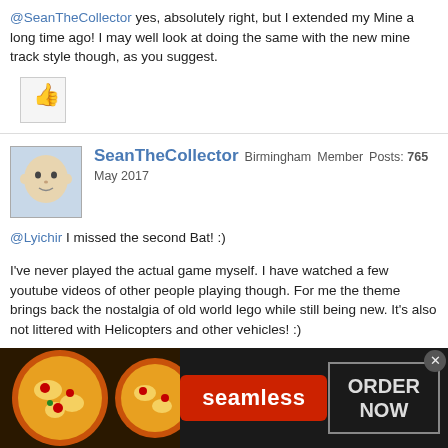@SeanTheCollector yes, absolutely right, but I extended my Mine a long time ago! I may well look at doing the same with the new mine track style though, as you suggest.
[Figure (illustration): Thumbs up / like button icon]
SeanTheCollector Birmingham Member Posts: 765 May 2017
@Lyichir I missed the second Bat! :)
I've never played the actual game myself. I have watched a few youtube videos of other people playing though. For me the theme brings back the nostalgia of old world lego while still being new. It's also not littered with Helicopters and other vehicles! :)
[Figure (illustration): Purple circle like/thumbs-up reaction icon]
[Figure (photo): Seamless food delivery advertisement banner with pizza images, seamless logo in red, and ORDER NOW button]